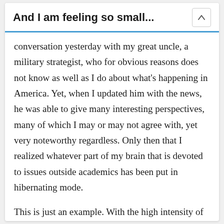And I am feeling so small...
conversation yesterday with my great uncle, a military strategist, who for obvious reasons does not know as well as I do about what's happening in America. Yet, when I updated him with the news, he was able to give many interesting perspectives, many of which I may or may not agree with, yet very noteworthy regardless. Only then that I realized whatever part of my brain that is devoted to issues outside academics has been put in hibernating mode.
This is just an example. With the high intensity of gatherings and the many different people at each gathering, I got exposure to so much more